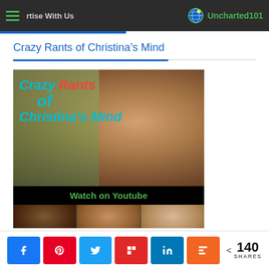Advertise With Us | Uncharted101
Crazy Rants of Christina’s Mind
[Figure (photo): Promotional image for 'Crazy Rants of Christina's Mind' YouTube channel showing a woman's face with colorful text overlay 'Crazy Rants of Christina's Mind' and 'Watch on Youtube' button, plus three smaller portrait photos below.]
140 SHARES with social sharing buttons: Facebook, Pinterest, Twitter, Flipboard, LinkedIn, Mix